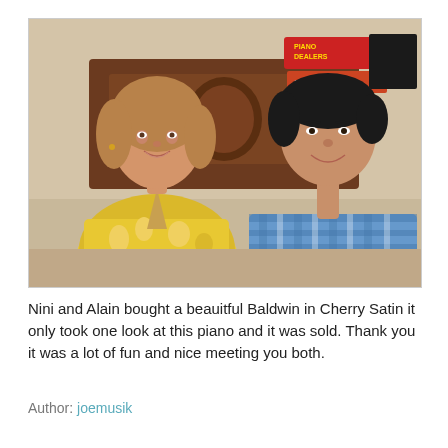[Figure (photo): A woman in a yellow floral top and a man in a blue and white plaid shirt sitting together in front of a piano and some signage. Both are smiling at the camera.]
Nini and Alain bought a beauitful Baldwin in Cherry Satin it only took one look at this piano and it was sold. Thank you it was a lot of fun and nice meeting you both.
Author: joemusik